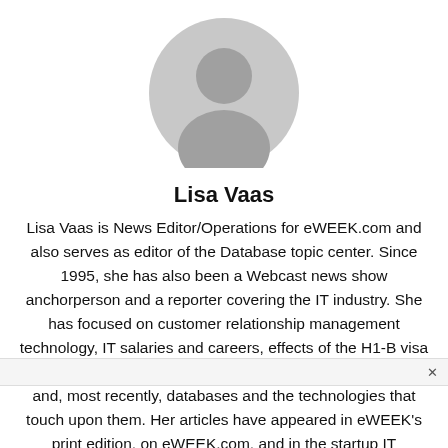[Figure (illustration): Gray circular avatar/profile placeholder icon showing a silhouette of a person]
Lisa Vaas
Lisa Vaas is News Editor/Operations for eWEEK.com and also serves as editor of the Database topic center. Since 1995, she has also been a Webcast news show anchorperson and a reporter covering the IT industry. She has focused on customer relationship management technology, IT salaries and careers, effects of the H1-B visa on the technology workforce, wireless technology, security, and, most recently, databases and the technologies that touch upon them. Her articles have appeared in eWEEK's print edition, on eWEEK.com, and in the startup IT magazine PC Connection. Prior to becoming a journalist, Vaas experienced an array of eye-opening careers, including driving a cab in Boston, photographing cranky babies in shopping malls, selling cameras, typography and computer training. She stopped a hair short of finishing an M.A. in Engli… and a B.S. in … open-mic r… …ame…